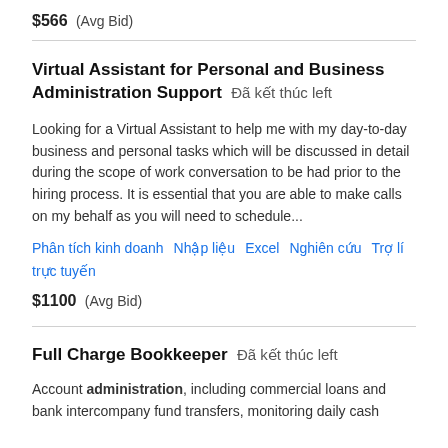$566  (Avg Bid)
Virtual Assistant for Personal and Business Administration Support  Đã kết thúc left
Looking for a Virtual Assistant to help me with my day-to-day business and personal tasks which will be discussed in detail during the scope of work conversation to be had prior to the hiring process. It is essential that you are able to make calls on my behalf as you will need to schedule...
Phân tích kinh doanh  Nhập liệu  Excel  Nghiên cứu  Trợ lí trực tuyến
$1100  (Avg Bid)
Full Charge Bookkeeper  Đã kết thúc left
Account administration, including commercial loans and bank intercompany fund transfers, monitoring daily cash